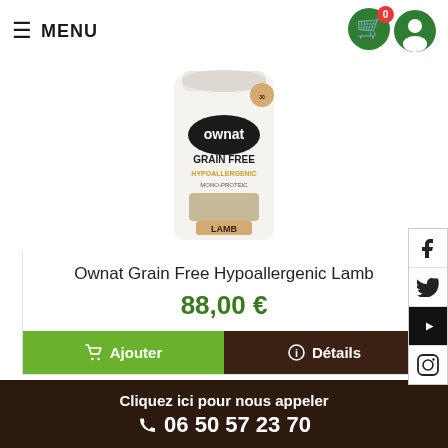≡ MENU
[Figure (photo): Ownat Grain Free Hypoallergenic Lamb dog food bag, white packaging with black and gold branding]
Ownat Grain Free Hypoallergenic Lamb
88,00 €
🛒 Ajouter   ℹ Détails
Cliquez ici pour nous appeler 06 50 57 23 70